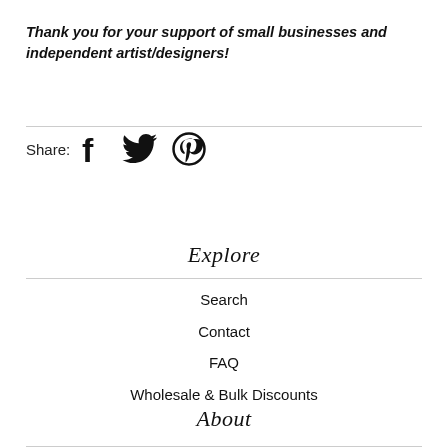Thank you for your support of small businesses and independent artist/designers!
Share: [Facebook] [Twitter] [Pinterest]
Explore
Search
Contact
FAQ
Wholesale & Bulk Discounts
About